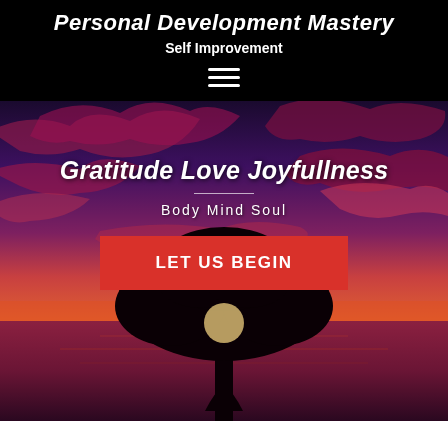Personal Development Mastery
Self Improvement
[Figure (illustration): Sunset landscape with dramatic red and purple cloud-filled sky, silhouette of a large tree in the center with glowing sun behind it, reflected over water below. Overlaid with text 'Gratitude Love Joyfullness', 'Body Mind Soul', and a red button 'LET US BEGIN'.]
Gratitude Love Joyfullness
Body Mind Soul
LET US BEGIN